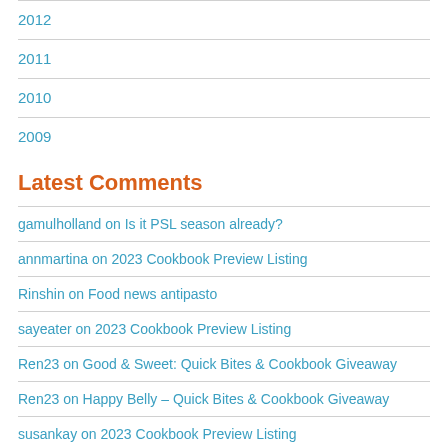2012
2011
2010
2009
Latest Comments
gamulholland on Is it PSL season already?
annmartina on 2023 Cookbook Preview Listing
Rinshin on Food news antipasto
sayeater on 2023 Cookbook Preview Listing
Ren23 on Good & Sweet: Quick Bites & Cookbook Giveaway
Ren23 on Happy Belly – Quick Bites & Cookbook Giveaway
susankay on 2023 Cookbook Preview Listing
Ren23 on Berber&Q: On Vegetables: Cookbook Giveaway
Ren23 on Lanka Food: Cookbook Giveaway
susankay on 2023 Cookbook Preview Listing